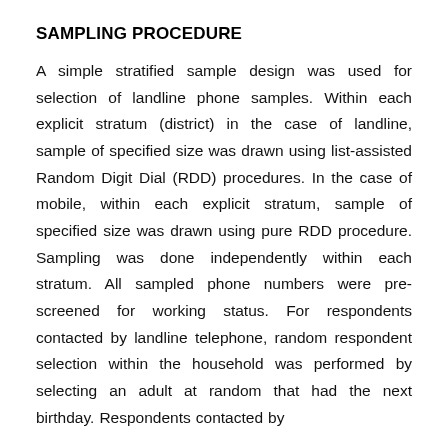SAMPLING PROCEDURE
A simple stratified sample design was used for selection of landline phone samples. Within each explicit stratum (district) in the case of landline, sample of specified size was drawn using list-assisted Random Digit Dial (RDD) procedures. In the case of mobile, within each explicit stratum, sample of specified size was drawn using pure RDD procedure. Sampling was done independently within each stratum. All sampled phone numbers were pre-screened for working status. For respondents contacted by landline telephone, random respondent selection within the household was performed by selecting an adult at random that had the next birthday. Respondents contacted by